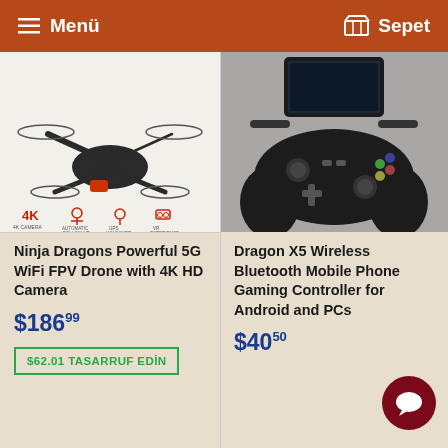≡ Menü   🛒 Sepet
[Figure (photo): Ninja Dragons folded quadcopter drone with 4K camera, shown with icons for 4K camera, automatic follow-up, GPS hold, and VR experience]
[Figure (photo): Dragon X5 wireless Bluetooth gamepad controller for mobile phones with a phone mounted on top]
Ninja Dragons Powerful 5G WiFi FPV Drone with 4K HD Camera
$186.99
$62.01 TASARRUF EDİN
Dragon X5 Wireless Bluetooth Mobile Phone Gaming Controller for Android and PCs
$40.50